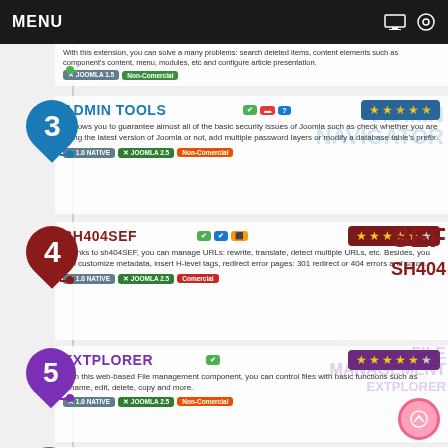MENU
With this extension, you can solve a many problems: search deleted items, content elements such as component's content, menu, modules, etc and configure article presentation.
3 ADMIN TOOLS — ★★★★★ — It allows you to guarantee almost all of the basic security issues of Joomla such as check whether you are using the latest version of Joomla or not, add multiple password layers or modify a database table's prefix. Tags: 1.0 NATIVE, JOOMLA 2.5, Non-Commercial
4 SH404SEF — ★★★★★½ — Thanks to sh404SEF, you can manage URLs: rewrite, translate, detect multiple URLs, etc. Besides, you can customize metadata, insert H-level tags, redirect error pages: 301 redirect or 404 errors and so on. Tags: 1.0 NATIVE, JOOMLA 2.5, Comercial
5 EXTPLORER — ★★★★★½ — With this web-based File management component, you can control files with basic functions such as rename, edit, delete, copy and more. Tags: 1.0 NATIVE, JOOMLA 2.5, Non-Commercial
6 AKEEBA BACKUP — ★★★★★